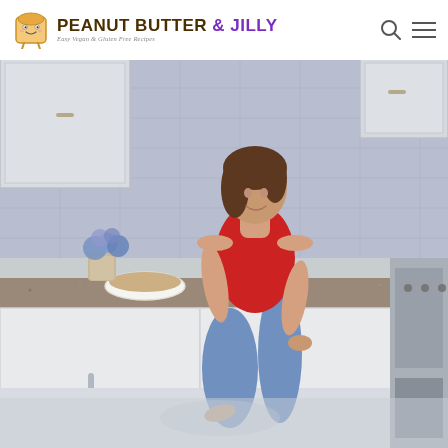[Figure (logo): Peanut Butter & Jilly logo with toast mascot icon. Text reads PEANUT BUTTER & JILLY with tagline Easy Vegan & Gluten Free Recipes]
[Figure (photo): A smiling woman with brown hair wearing a red off-shoulder top and blue jeans, sitting on a kitchen counter. Kitchen has white cabinets, grey subway tile backsplash, granite countertop. A white baking dish with food is on the counter, blue hydrangeas in a vase nearby, stainless steel appliances on the right.]